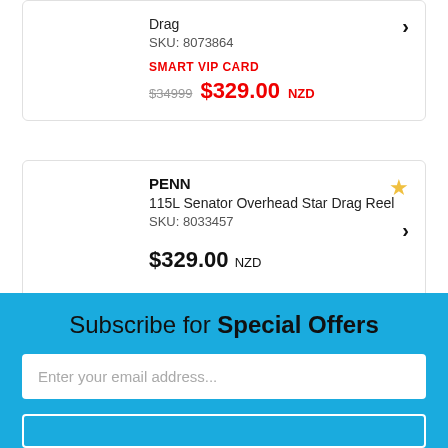Drag
SKU: 8073864
SMART VIP CARD
$34999  $329.00 NZD
PENN
115L Senator Overhead Star Drag Reel
SKU: 8033457
$329.00 NZD
Subscribe for Special Offers
Enter your email address...